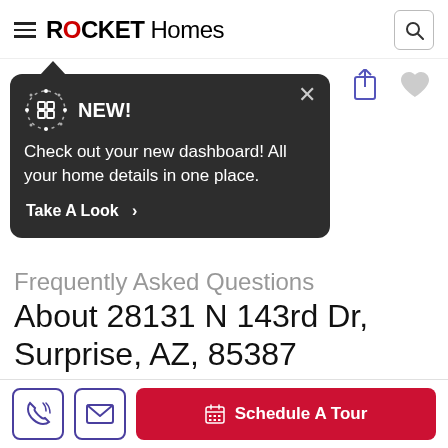ROCKET Homes
[Figure (screenshot): Rocket Homes mobile app screenshot showing a popup notification saying NEW! Check out your new dashboard! All your home details in one place. Take A Look > overlaying a property page for 28131 N 143rd Dr, Surprise, AZ, 85387 with FAQ section and Schedule A Tour button at bottom.]
NEW!
Check out your new dashboard! All your home details in one place.
Take A Look >
Frequently Asked Questions About 28131 N 143rd Dr, Surprise, AZ, 85387
What is the listing price of this property?